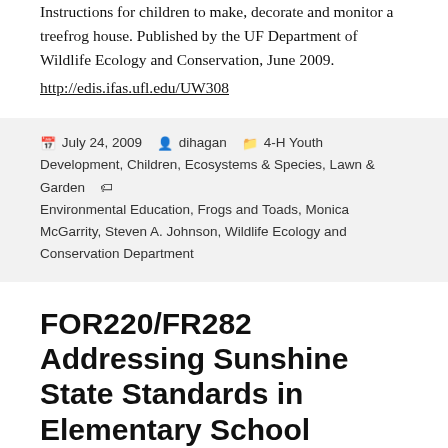Instructions for children to make, decorate and monitor a treefrog house. Published by the UF Department of Wildlife Ecology and Conservation, June 2009.
http://edis.ifas.ufl.edu/UW308
Posted July 24, 2009   Author dihagan   Categories 4-H Youth Development, Children, Ecosystems & Species, Lawn & Garden   Tags Environmental Education, Frogs and Toads, Monica McGarrity, Steven A. Johnson, Wildlife Ecology and Conservation Department
FOR220/FR282 Addressing Sunshine State Standards in Elementary School Teacher Professional Development Workshops